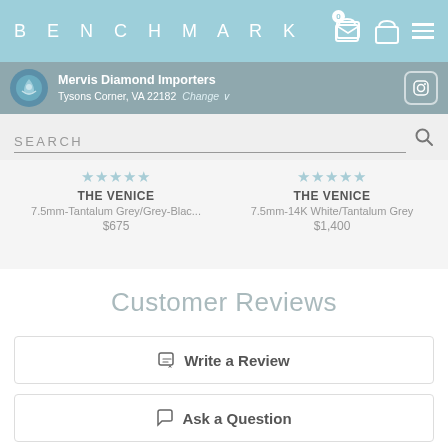BENCHMARK
Mervis Diamond Importers
Tysons Corner, VA 22182  Change
SEARCH
THE VENICE
7.5mm-Tantalum Grey/Grey-Blac...
$675
THE VENICE
7.5mm-14K White/Tantalum Grey
$1,400
Customer Reviews
Write a Review
Ask a Question